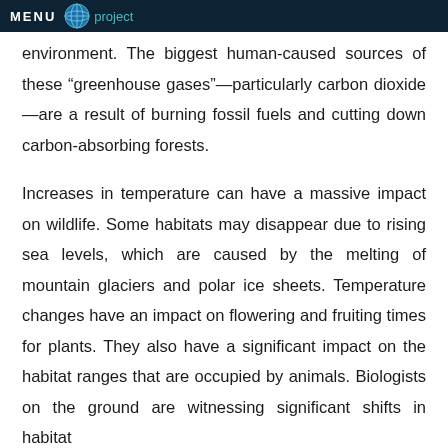MENU project
environment. The biggest human-caused sources of these "greenhouse gases"—particularly carbon dioxide—are a result of burning fossil fuels and cutting down carbon-absorbing forests.
Increases in temperature can have a massive impact on wildlife. Some habitats may disappear due to rising sea levels, which are caused by the melting of mountain glaciers and polar ice sheets. Temperature changes have an impact on flowering and fruiting times for plants. They also have a significant impact on the habitat ranges that are occupied by animals. Biologists on the ground are witnessing significant shifts in habitat